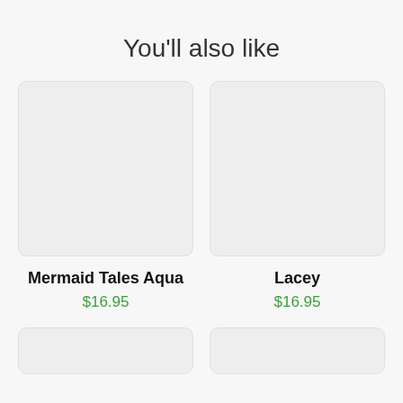You'll also like
[Figure (photo): Empty product image placeholder for Mermaid Tales Aqua]
Mermaid Tales Aqua
$16.95
[Figure (photo): Empty product image placeholder for Lacey]
Lacey
$16.95
[Figure (photo): Empty product image placeholder (bottom left)]
[Figure (photo): Empty product image placeholder (bottom right)]